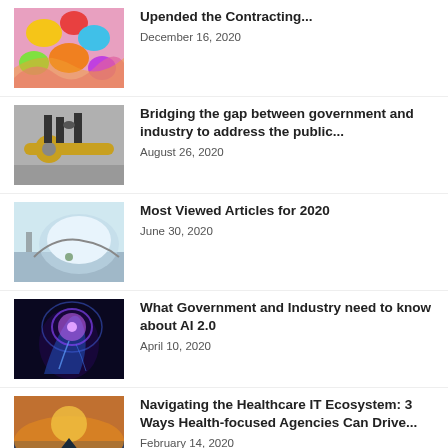[Figure (photo): Colorful decorative textile/fabric pattern with bright colors]
Upended the Contracting...
December 16, 2020
[Figure (photo): Black and white photo of people crossing a large golden key used as a bridge]
Bridging the gap between government and industry to address the public...
August 26, 2020
[Figure (photo): Car side mirror reflecting a highway scene]
Most Viewed Articles for 2020
June 30, 2020
[Figure (photo): Digital illustration of a human head profile with AI/technology glowing elements in blue and purple]
What Government and Industry need to know about AI 2.0
April 10, 2020
[Figure (photo): Sailboat on water at sunset with orange sky]
Navigating the Healthcare IT Ecosystem: 3 Ways Health-focused Agencies Can Drive...
February 14, 2020